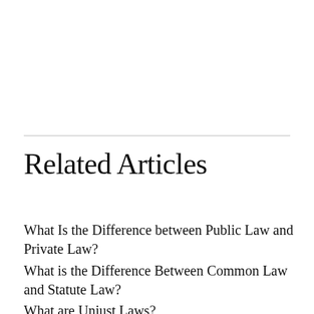Related Articles
What Is the Difference between Public Law and Private Law?
What is the Difference Between Common Law and Statute Law?
What are Unjust Laws?